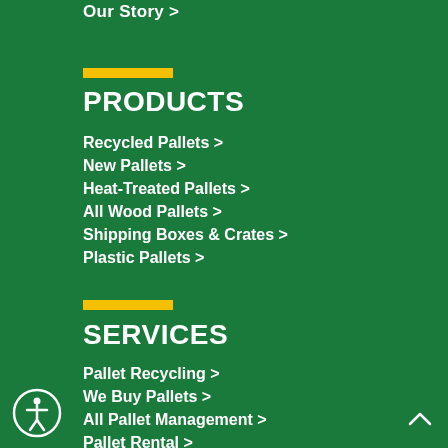Our Story >
PRODUCTS
Recycled Pallets >
New Pallets >
Heat-Treated Pallets >
All Wood Pallets >
Shipping Boxes & Crates >
Plastic Pallets >
SERVICES
Pallet Recycling >
We Buy Pallets >
All Pallet Management >
Pallet Rental >
Custom Pallet Design >